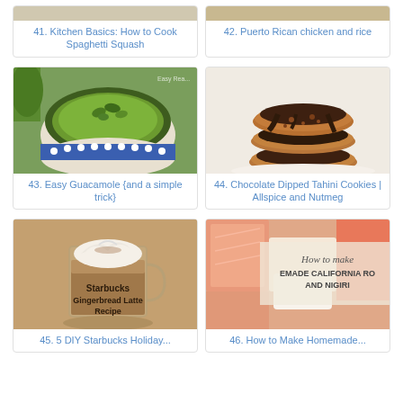[Figure (photo): Partial image of Kitchen Basics: How to Cook Spaghetti Squash]
41. Kitchen Basics: How to Cook Spaghetti Squash
[Figure (photo): Partial image of Puerto Rican chicken and rice]
42. Puerto Rican chicken and rice
[Figure (photo): Photo of guacamole in a blue and white ceramic bowl with herbs on top]
43. Easy Guacamole {and a simple trick}
[Figure (photo): Photo of chocolate dipped tahini cookies stacked on each other]
44. Chocolate Dipped Tahini Cookies | Allspice and Nutmeg
[Figure (photo): Photo of Starbucks Gingerbread Latte Recipe in a glass mug with whipped cream]
45. 5 DIY Starbucks Holiday
[Figure (photo): Photo of sushi with text How to make Homemade California Rolls and Nigiri]
46. How to Make Homemade